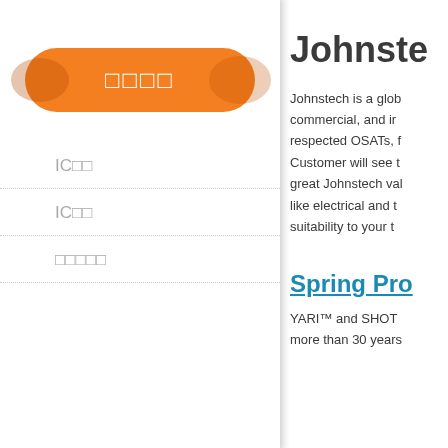[Figure (other): Orange pill-shaped navigation button with Japanese/Chinese characters in white text]
IC類似
IC類似
類似類似類似
Johnste
Johnstech is a glob commercial, and ir respected OSATs, f Customer will see t great Johnstech val like electrical and t suitability to your t
Spring Pro
YARI™ and SHOT more than 30 years